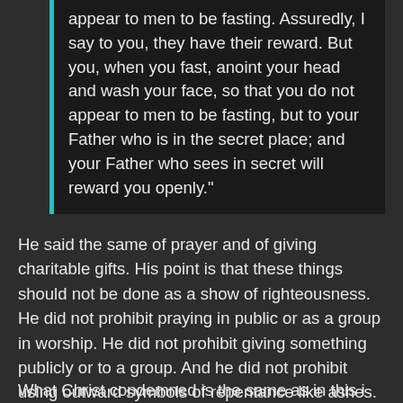appear to men to be fasting. Assuredly, I say to you, they have their reward. But you, when you fast, anoint your head and wash your face, so that you do not appear to men to be fasting, but to your Father who is in the secret place; and your Father who sees in secret will reward you openly."
He said the same of prayer and of giving charitable gifts. His point is that these things should not be done as a show of righteousness. He did not prohibit praying in public or as a group in worship. He did not prohibit giving something publicly or to a group. And he did not prohibit using outward symbols of repentance like ashes.
What Christ condemned is the same as in this i